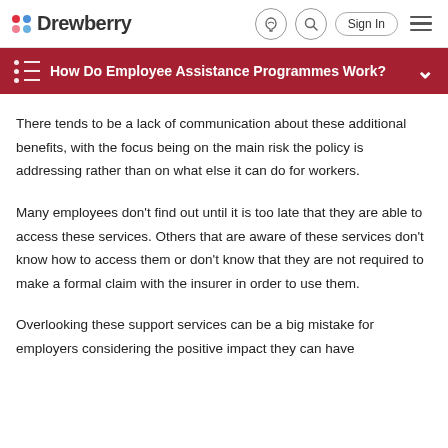Drewberry — Sign In
How Do Employee Assistance Programmes Work?
There tends to be a lack of communication about these additional benefits, with the focus being on the main risk the policy is addressing rather than on what else it can do for workers.
Many employees don't find out until it is too late that they are able to access these services. Others that are aware of these services don't know how to access them or don't know that they are not required to make a formal claim with the insurer in order to use them.
Overlooking these support services can be a big mistake for employers considering the positive impact they can have…